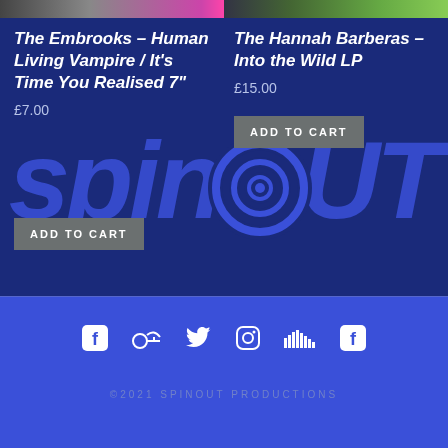[Figure (screenshot): Two product images partially visible at top (left: band/music photo, right: outdoor/nature photo)]
The Embrooks – Human Living Vampire / It's Time You Realised 7"
£7.00
The Hannah Barberas – Into the Wild LP
£15.00
[Figure (logo): Spinout Productions logo in large blue text with spiral swirl graphic overlay on dark blue background]
ADD TO CART
ADD TO CART
[Figure (infographic): Social media icons: Facebook, Soundcloud, Twitter, Instagram, SoundCloud bars, Facebook]
©2021 SPINOUT PRODUCTIONS